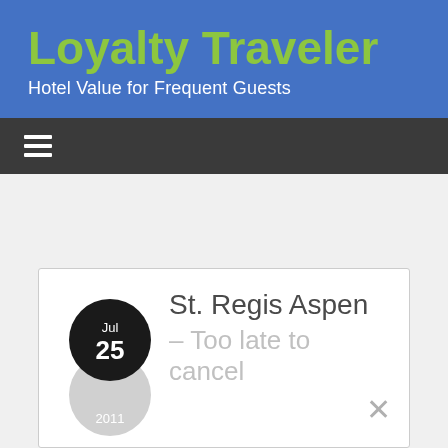Loyalty Traveler
Hotel Value for Frequent Guests
[Figure (screenshot): Navigation hamburger menu icon (three horizontal lines) on dark gray navigation bar]
St. Regis Aspen – Too late to cancel
Jul 25 2011